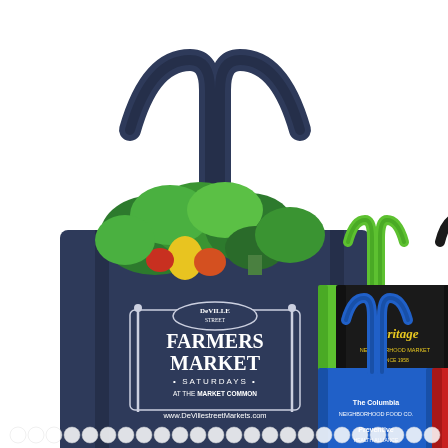[Figure (photo): Product photo showing reusable grocery tote bags in multiple colors. The large center-left bag is navy blue with white 'DeVille Street FARMERS MARKET SATURDAYS AT THE MARKET COMMON' logo and website www.DeVillestreetMarkets.com, filled with vegetables and produce. To the right are four smaller bags: top-left green bag with 'fresh & easy Neighborhood Market' yellow logo, top-right black bag with 'Heritage' yellow logo, bottom-left blue bag with 'The Columbia' and 'Preventive' logos in white, bottom-right red bag with 'LOVE FOOD' white text logo. Below all bags is a row of small white circular decorative elements (polka dot pattern).]